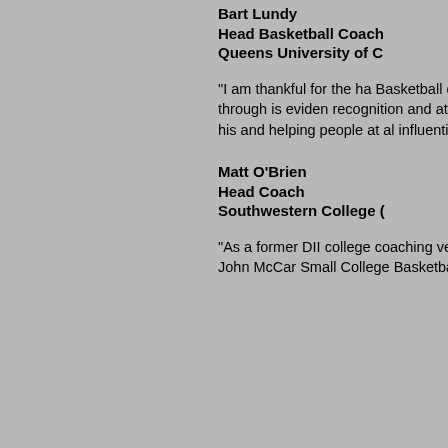Bart Lundy
Head Basketball Coach
Queens University of C
"I am thankful for the ha Basketball does to prom follow-through is eviden recognition and attentio received because of his and helping people at al influential people in coll
Matt O'Brien
Head Coach
Southwestern College (
“As a former DII college coaching veteran at the grateful for John McCar Small College Basketba improving the significan